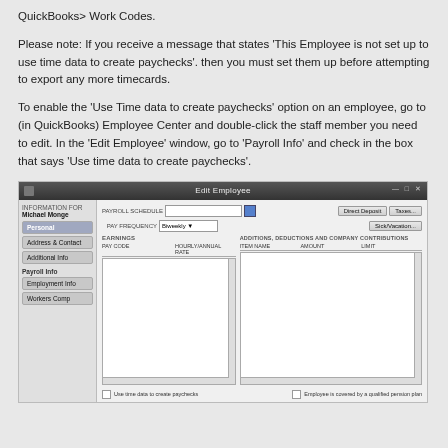QuickBooks> Work Codes.
Please note: If you receive a message that states 'This Employee is not set up to use time data to create paychecks'. then you must set them up before attempting to export any more timecards.
To enable the 'Use Time data to create paychecks' option on an employee, go to (in QuickBooks) Employee Center and double-click the staff member you need to edit. In the 'Edit Employee' window, go to 'Payroll Info' and check in the box that says 'Use time data to create paychecks'.
[Figure (screenshot): Screenshot of the QuickBooks 'Edit Employee' window showing Payroll Info tab with fields for payroll schedule, pay frequency, earnings table, and checkboxes including 'Use time data to create paychecks' and 'Employee is covered by a qualified pension plan'.]